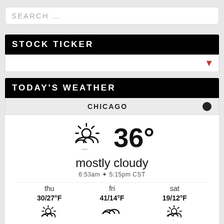SEARCH ...
STOCK TICKER
[Figure (other): Stock ticker bar with a red down arrow icon on the right]
TODAY'S WEATHER
CHICAGO
[Figure (infographic): Weather widget showing mostly cloudy icon with 36 degrees temperature, description 'mostly cloudy', times 6:53am sunrise 5:15pm sunset CST, and 3-day forecast: thu 30/27°F mostly cloudy, fri 41/14°F cloudy, sat 19/12°F mostly cloudy]